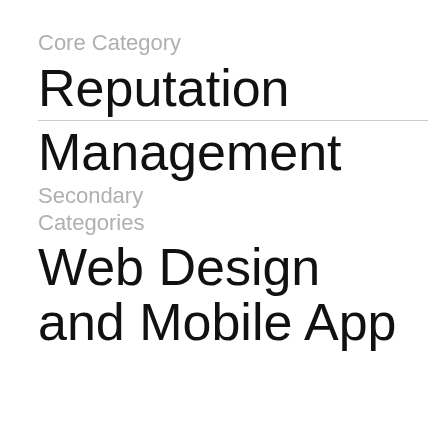Core Category
Reputation Management
Secondary Categories
Web Design and Mobile App